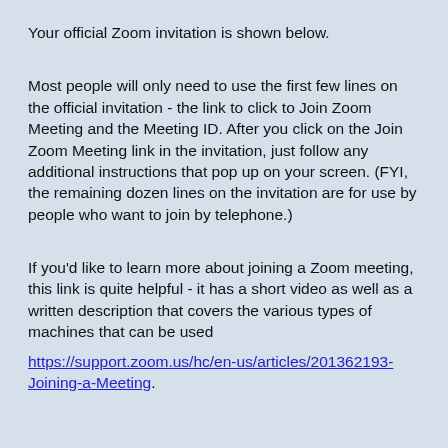Your official Zoom invitation is shown below.
Most people will only need to use the first few lines on the official invitation - the link to click to Join Zoom Meeting and the Meeting ID. After you click on the Join Zoom Meeting link in the invitation, just follow any additional instructions that pop up on your screen. (FYI, the remaining dozen lines on the invitation are for use by people who want to join by telephone.)
If you'd like to learn more about joining a Zoom meeting, this link is quite helpful - it has a short video as well as a written description that covers the various types of machines that can be used
https://support.zoom.us/hc/en-us/articles/201362193-Joining-a-Meeting.
OFFICIAL ZOOM INVITATION